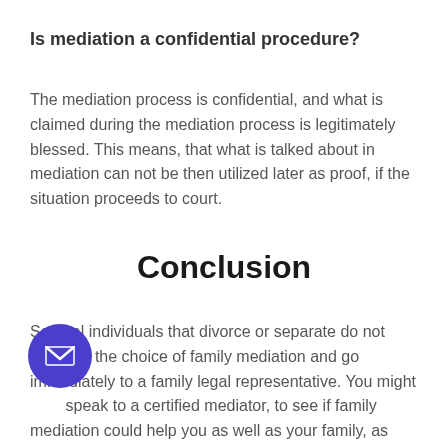Is mediation a confidential procedure?
The mediation process is confidential, and what is claimed during the mediation process is legitimately blessed. This means, that what is talked about in mediation can not be then utilized later as proof, if the situation proceeds to court.
Conclusion
Several individuals that divorce or separate do not consider the choice of family mediation and go immediately to a family legal representative. You might speak to a certified mediator, to see if family mediation could help you as well as your family, as opposed to extensive and also expensive legal activity in the courts. By utilizing family mediation, there is the